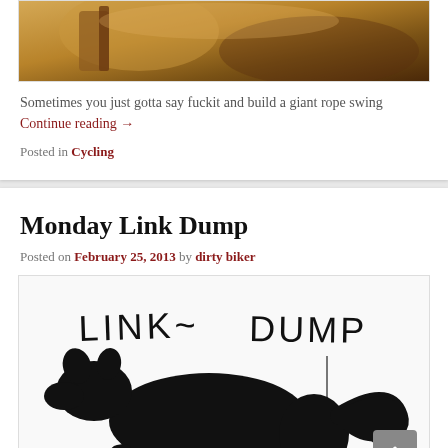[Figure (photo): Top portion of a photo showing rocky/sandy terrain with a person holding a stick or rope, warm orange/brown tones]
Sometimes you just gotta say fuckit and build a giant rope swing Continue reading →
Posted in Cycling
Monday Link Dump
Posted on February 25, 2013 by dirty biker
[Figure (illustration): Hand-drawn style illustration showing text 'LINK DUMP' at top with a black silhouette of a dog/bear squatting, and an arrow pointing down toward its rear end]